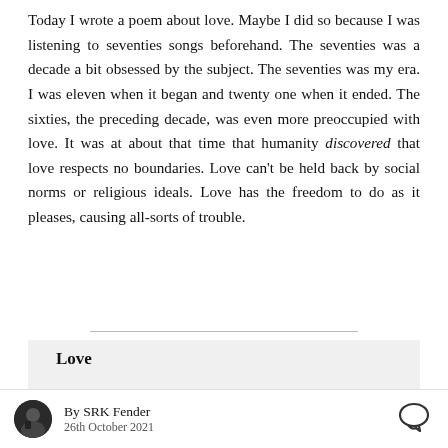Today I wrote a poem about love. Maybe I did so because I was listening to seventies songs beforehand. The seventies was a decade a bit obsessed by the subject. The seventies was my era. I was eleven when it began and twenty one when it ended. The sixties, the preceding decade, was even more preoccupied with love. It was at about that time that humanity discovered that love respects no boundaries. Love can't be held back by social norms or religious ideals. Love has the freedom to do as it pleases, causing all-sorts of trouble.
Love
Love, that's what it's all about
not fortune, fame, fun
By SRK Fender
26th October 2021